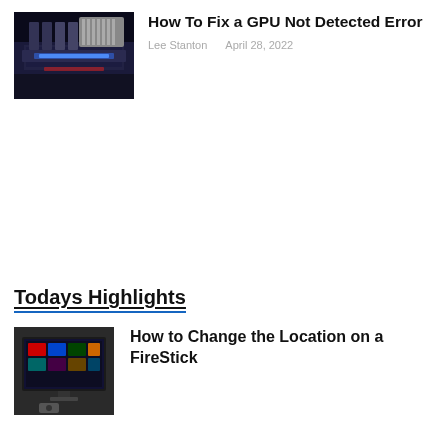[Figure (photo): PC interior showing GPU with blue LED lighting and RAM sticks on a motherboard]
How To Fix a GPU Not Detected Error
Lee Stanton    April 28, 2022
Todays Highlights
[Figure (photo): Amazon Fire TV Stick connected to a television showing a streaming app interface]
How to Change the Location on a FireStick